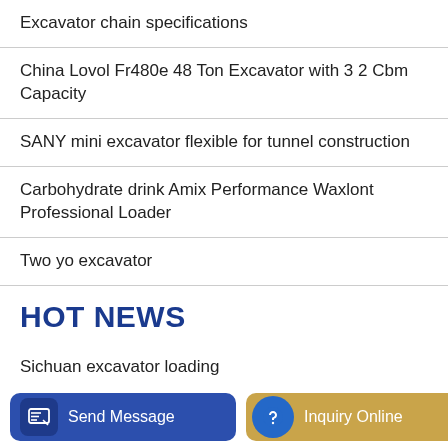Excavator chain specifications
China Lovol Fr480e 48 Ton Excavator with 3 2 Cbm Capacity
SANY mini excavator flexible for tunnel construction
Carbohydrate drink Amix Performance Waxlont Professional Loader
Two yo excavator
HOT NEWS
Sichuan excavator loading